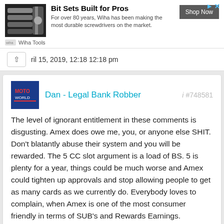[Figure (screenshot): Advertisement banner for Wiha Tools showing bit sets with screwdriver image, 'Bit Sets Built for Pros' heading, description text, Shop Now button]
April 15, 2019, 12:18 12:18 pm
Dan - Legal Bank Robber  #748581
The level of ignorant entitlement in these comments is disgusting. Amex does owe me, you, or anyone else SHIT. Don't blatantly abuse their system and you will be rewarded. The 5 CC slot argument is a load of BS. 5 is plenty for a year, things could be much worse and Amex could tighten up approvals and stop allowing people to get as many cards as we currently do. Everybody loves to complain, when Amex is one of the most consumer friendly in terms of SUB's and Rewards Earnings.
0  Reply